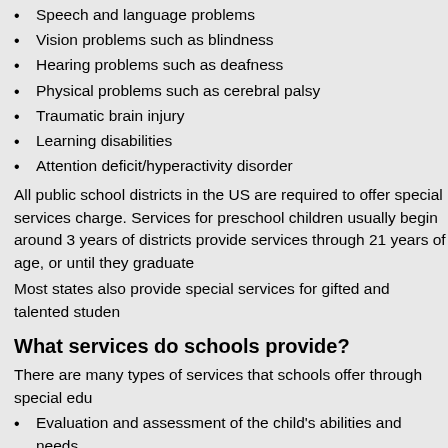Speech and language problems
Vision problems such as blindness
Hearing problems such as deafness
Physical problems such as cerebral palsy
Traumatic brain injury
Learning disabilities
Attention deficit/hyperactivity disorder
All public school districts in the US are required to offer special services charge. Services for preschool children usually begin around 3 years of districts provide services through 21 years of age, or until they graduate
Most states also provide special services for gifted and talented studen
What services do schools provide?
There are many types of services that schools offer through special edu
Evaluation and assessment of the child's abilities and needs
Special classes and specially trained teachers and aides
Classroom accommodations such as books in large print for a visu with a physical disability
Assistive technologies such as special computers or keyboards, di
Special transportation such as a special bus to pick up children wit
Speech and language therapy
Occupational therapy for problems with movement and senses suc
Physical therapy for children with bone, muscle, and joint problems
Services can be provided in several ways. Common methods are:
Consultation: A specialist consults with the regular classroom tea